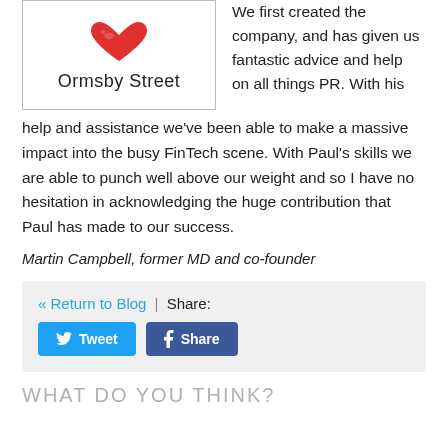[Figure (logo): Ormsby Street logo: red heart/lips icon above the text 'Ormsby Street' in a bordered box]
We first created the company, and has given us fantastic advice and help on all things PR. With his help and assistance we've been able to make a massive impact into the busy FinTech scene. With Paul's skills we are able to punch well above our weight and so I have no hesitation in acknowledging the huge contribution that Paul has made to our success.
Martin Campbell, former MD and co-founder
« Return to Blog | Share: Tweet Share
WHAT DO YOU THINK?